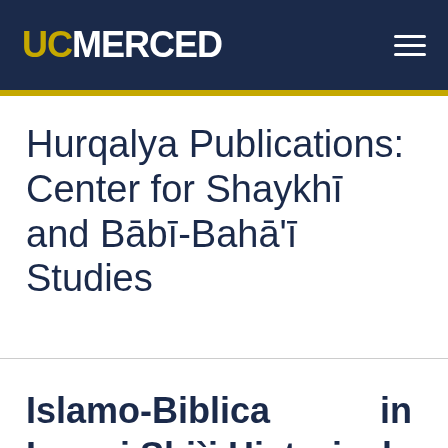UC MERCED
Hurqalya Publications: Center for Shaykhī and Bābī-Bahā'ī Studies
Islamo-Biblica in Imami Shi`i Historical